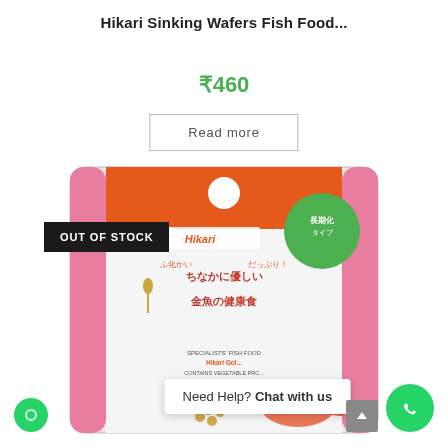Hikari Sinking Wafers Fish Food...
₹460
Read more
[Figure (photo): Product image of Hikari Sinking Wafers Fish Food package - a Japanese fish food bag with Japanese text and orange/pink branding, showing a goldfish on the packaging.]
OUT OF STOCK
Need Help? Chat with us